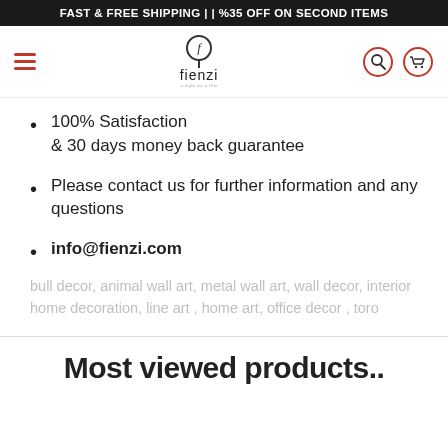FAST & FREE SHIPPING | | %35 OFF ON SECOND ITEMS
[Figure (logo): Fienzi brand logo with stylized tree icon above the word 'fienzi']
100% Satisfaction & 30 days money back guarantee
Please contact us for further information and any questions
info@fienzi.com
bull decor, animal wall art, metal wall art, wall decor, interior home decoration, line art , home art, office decor , toro
Most viewed products..